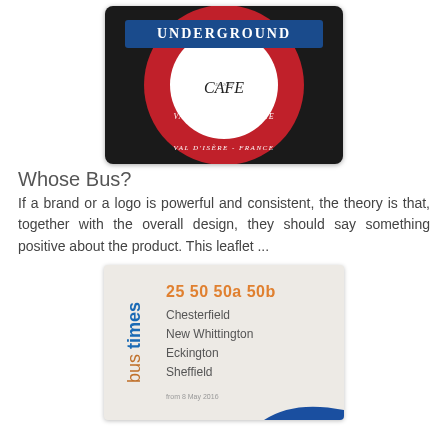[Figure (photo): Photo of an Underground Cafe sign styled like the London Underground roundel, with 'UNDERGROUND' in white on blue bar, 'CAFE' in center, and 'VAL D'ISÈRE - FRANCE' on the red circle band.]
Whose Bus?
If a brand or a logo is powerful and consistent, the theory is that, together with the overall design, they should say something positive about the product. This leaflet ...
[Figure (photo): Photo of a bus timetable leaflet cover showing routes 25 50 50a 50b serving Chesterfield, New Whittington, Eckington, Sheffield. Text 'bus times' written vertically on left side in blue/orange. Date 'from 8 May 2016' at bottom.]